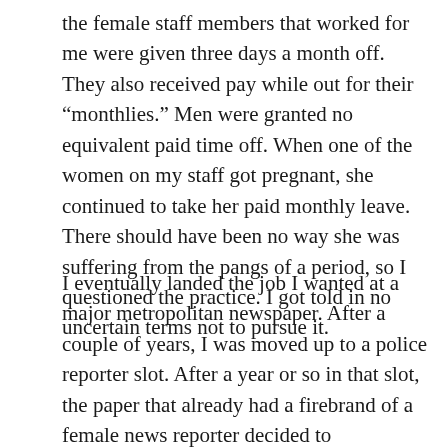the female staff members that worked for me were given three days a month off. They also received pay while out for their “monthlies.” Men were granted no equivalent paid time off. When one of the women on my staff got pregnant, she continued to take her paid monthly leave. There should have been no way she was suffering from the pangs of a period, so I questioned the practice. I got told in no uncertain terms not to pursue it.
I eventually landed the job I wanted at a major metropolitan newspaper. After a couple of years, I was moved up to a police reporter slot. After a year or so in that slot, the paper that already had a firebrand of a female news reporter decided to